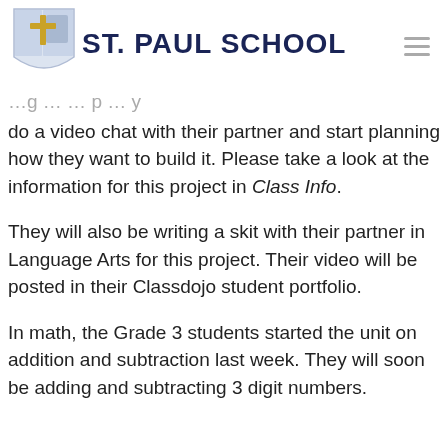[Figure (logo): St. Paul School logo with shield icon and bold navy blue text reading ST. PAUL SCHOOL]
do a video chat with their partner and start planning how they want to build it. Please take a look at the information for this project in Class Info.
They will also be writing a skit with their partner in Language Arts for this project. Their video will be posted in their Classdojo student portfolio.
In math, the Grade 3 students started the unit on addition and subtraction last week. They will soon be adding and subtracting 3 digit numbers.